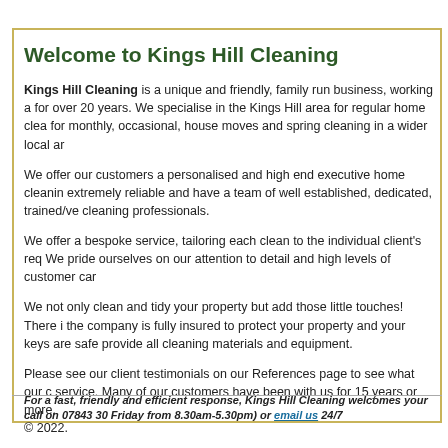Welcome to Kings Hill Cleaning
Kings Hill Cleaning is a unique and friendly, family run business, working a for over 20 years. We specialise in the Kings Hill area for regular home clea for monthly, occasional, house moves and spring cleaning in a wider local ar
We offer our customers a personalised and high end executive home cleanin extremely reliable and have a team of well established, dedicated, trained/ve cleaning professionals.
We offer a bespoke service, tailoring each clean to the individual client's req We pride ourselves on our attention to detail and high levels of customer ca
We not only clean and tidy your property but add those little touches! There i the company is fully insured to protect your property and your keys are safe provide all cleaning materials and equipment.
Please see our client testimonials on our References page to see what our c service. Many of our customers have been with us for 15 years or more. © 2022.
For a fast, friendly and efficient response, Kings Hill Cleaning welcomes your call on 07843 30 Friday from 8.30am-5.30pm) or email us 24/7